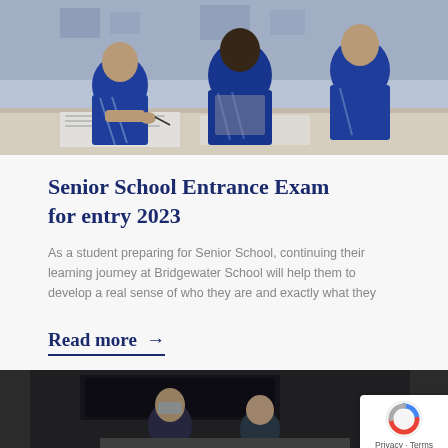[Figure (photo): Students in blue school blazers/uniforms sitting at desks, writing or studying, viewed from above/side in a classroom setting.]
Senior School Entrance Exam for entry 2023
As a student preparing for Senior School, continuing their learning journey at Bridgewater School will help them to develop a real sense of who they are and exactly what they
Read more →
[Figure (photo): Students in a classroom or lab setting, partially visible at the bottom of the page.]